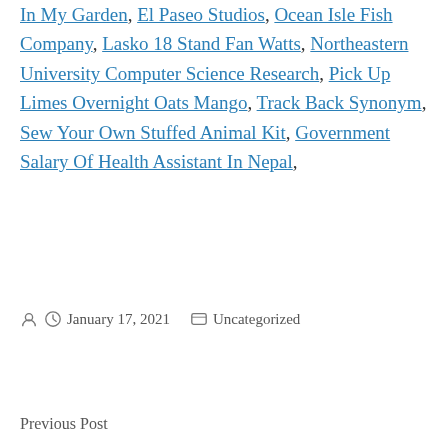In My Garden, El Paseo Studios, Ocean Isle Fish Company, Lasko 18 Stand Fan Watts, Northeastern University Computer Science Research, Pick Up Limes Overnight Oats Mango, Track Back Synonym, Sew Your Own Stuffed Animal Kit, Government Salary Of Health Assistant In Nepal,
Posted by [author icon] January 17, 2021 [category icon] Uncategorized
Previous Post